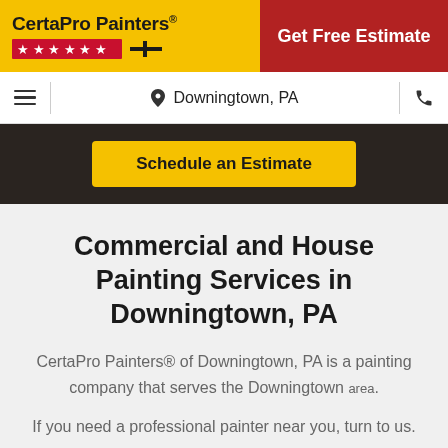[Figure (logo): CertaPro Painters logo with yellow background, stars row, and brand name in bold black text]
Get Free Estimate
Downingtown, PA
[Figure (screenshot): Dark hero image background with yellow 'Schedule an Estimate' button]
Commercial and House Painting Services in Downingtown, PA
CertaPro Painters® of Downingtown, PA is a painting company that serves the Downingtown area.
If you need a professional painter near you, turn to us.